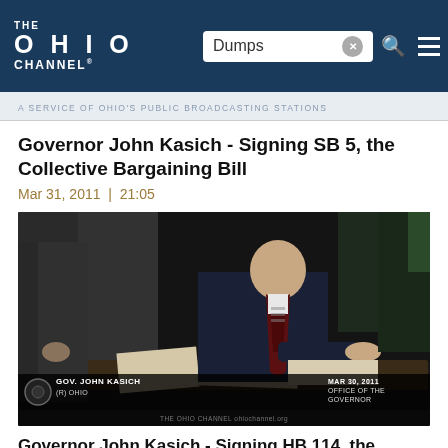THE OHIO CHANNEL - Dumps [search]
A SERVICE OF OHIO'S PUBLIC BROADCASTING STATIONS
Governor John Kasich - Signing SB 5, the Collective Bargaining Bill
Mar 31, 2011 | 21:05
[Figure (photo): Governor John Kasich signing SB 5, the Collective Bargaining Bill on March 30, 2011 at the Office of the Governor. Lower-third chyron reads: GOV. JOHN KASICH / (R) OHIO and MAR 30, 2011 / OFFICE OF THE / GOVERNOR.]
Governor John Kasich - Signing HB 114, the Transportation